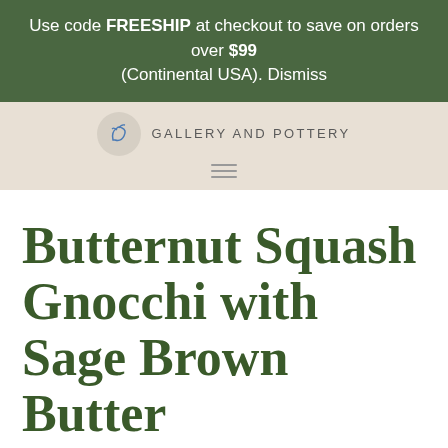Use code FREESHIP at checkout to save on orders over $99 (Continental USA). Dismiss
[Figure (logo): Gallery and Pottery logo with bird illustration in a circle, text reads GALLERY AND POTTERY]
Butternut Squash Gnocchi with Sage Brown Butter
November 28, 2012 By Valerie